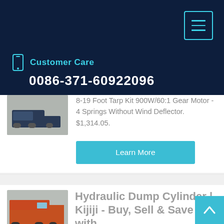Customer Care 0086-371-60922096
8-19 Foot Tarp Kit 900W/60:1 Gear Motor - 4 Springs Without Wind Deflector. $1,314.05.
Learn More
Hydraulic Dump Cylinder | Kijiji - Buy, Sell & Save with
Asphalt Tarps. Our Hot Top asphalt tarps are designed to fit most dump truck and dump truck trailer tarp